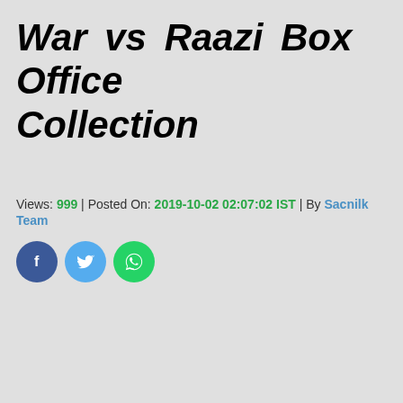War vs Raazi Box Office Collection
Views: 999 | Posted On: 2019-10-02 02:07:02 IST | By Sacnilk Team
[Figure (infographic): Three social media share buttons: Facebook (blue circle), Twitter (light blue circle), WhatsApp (green circle)]